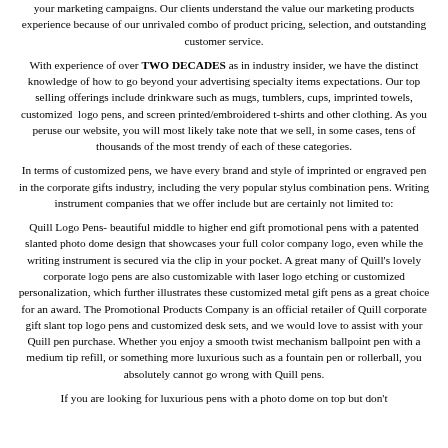your marketing campaigns.  Our clients understand the value our marketing products experience because of our unrivaled combo of product pricing, selection, and outstanding customer service.
With experience of over TWO DECADES as in industry insider, we have the distinct knowledge of how to go beyond your advertising specialty items expectations.  Our top selling offerings include drinkware such as mugs, tumblers, cups, imprinted towels, customized  logo pens, and screen printed/embroidered t-shirts and other clothing.  As you peruse our website, you will most likely take note that we sell, in some cases, tens of thousands of the most trendy of each of these categories.
In terms of customized pens, we have every brand and style of imprinted or engraved pen in the corporate gifts industry, including the very popular stylus combination pens.  Writing instrument companies that we offer include but are certainly not limited to:
Quill Logo Pens- beautiful middle to higher end gift promotional pens with a patented slanted photo dome design that showcases your full color company logo, even while the writing instrument is secured via the clip in your pocket.  A great many of Quill's lovely corporate logo pens are also customizable with laser logo etching or customized personalization, which further illustrates these customized metal gift pens as a great choice for an award.  The Promotional Products Company is an official retailer of Quill corporate gift slant top logo pens and customized desk sets, and we would love to assist with your Quill pen purchase.  Whether you enjoy a smooth twist mechanism ballpoint pen with a medium tip refill, or something more luxurious such as a fountain pen or rollerball, you absolutely cannot go wrong with Quill pens.
If you are looking for luxurious pens with a photo dome on top but don't